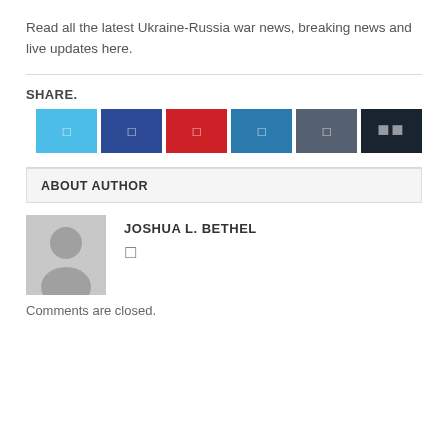Read all the latest Ukraine-Russia war news, breaking news and live updates here.
[Figure (other): Social share buttons: Twitter (light blue), Facebook (dark blue), Pinterest (red), LinkedIn (medium blue), Tumblr (slate), and a More/share button (dark navy)]
ABOUT AUTHOR
[Figure (photo): Default grey avatar/placeholder image showing a silhouette of a person]
JOSHUA L. BETHEL
Comments are closed.